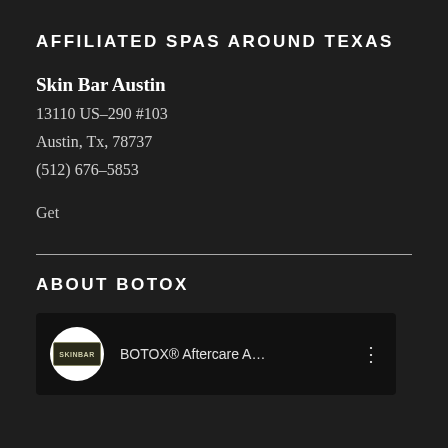AFFILIATED SPAS AROUND TEXAS
Skin Bar Austin
13110 US-290 #103
Austin, Tx, 78737
(512) 676-5853
Get
ABOUT BOTOX
[Figure (screenshot): Video thumbnail showing Skin Bar logo in a white circle and the text 'BOTOX® Aftercare A...' with a three-dot menu icon, on a dark background.]